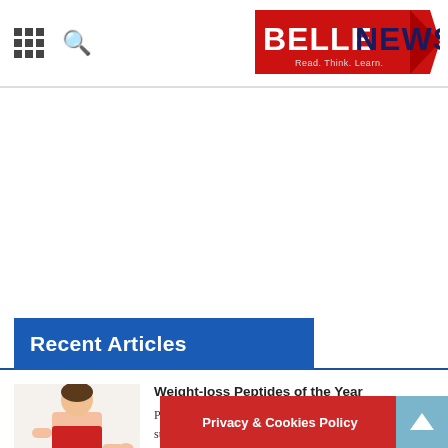BELLENEWS - Read. Think. Learn.
Recent Articles
[Figure (photo): Woman in oversized jeans showing weight loss, wearing red top]
Weight-loss Peptides of the Year
Peptides may be used for a variety of purposes. Some subjects desire to strengthen and bulk up their muscles, while ...Read More »
Privacy & Cookies Policy